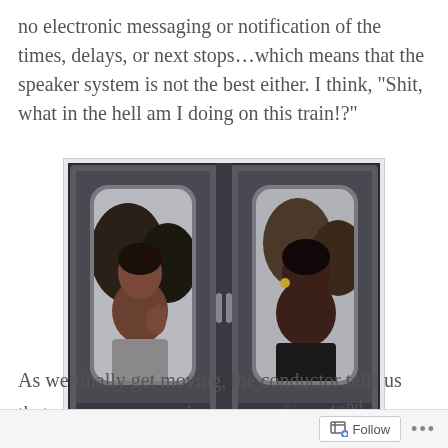no electronic messaging or notification of the times, delays, or next stops...which means that the speaker system is not the best either. I think, "Shit, what in the hell am I doing on this train!?"
[Figure (photo): A photograph of crowded subway train doors with two women visible through the windows, one on each side of the double doors, with other passengers behind them.]
As we finally get moving, the conductor tells us that we are now running express from 42nd to Brooklyn Bridge due to an accident at 33rd.
Follow ...